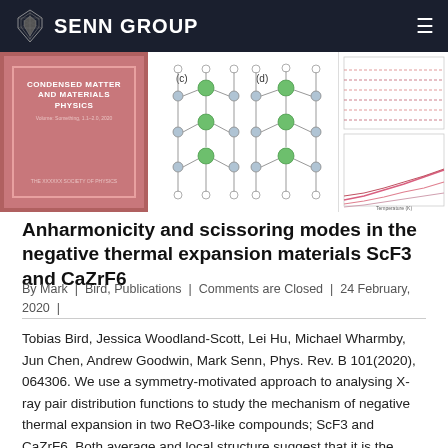SENN GROUP
[Figure (photo): Three images side by side: a red/pink book cover reading 'Condensed Matter and Materials Physics', a crystal structure diagram showing labeled panels (c) and (d) with green and grey spheres connected by lines, and a line graph showing temperature-dependent data with pink/red lines.]
Anharmonicity and scissoring modes in the negative thermal expansion materials ScF3 and CaZrF6
By Mark | Bird, Publications | Comments are Closed | 24 February, 2020 |
Tobias Bird, Jessica Woodland-Scott, Lei Hu, Michael Wharmby, Jun Chen, Andrew Goodwin, Mark Senn, Phys. Rev. B 101(2020), 064306. We use a symmetry-motivated approach to analysing X-ray pair distribution functions to study the mechanism of negative thermal expansion in two ReO3-like compounds; ScF3 and CaZrF6. Both average and local structure suggest that it is the flexibility